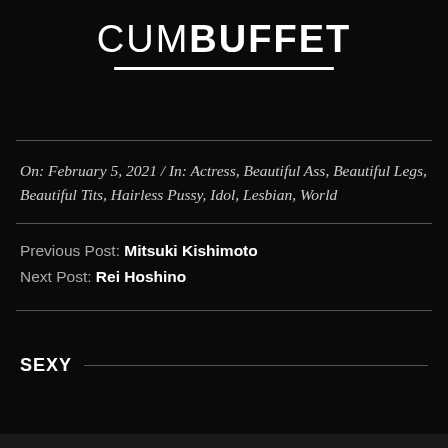CUMBUFFET
On:  February 5, 2021  /  In:  Actress, Beautiful Ass, Beautiful Legs, Beautiful Tits, Hairless Pussy, Idol, Lesbian, World
Previous Post: Mitsuki Kishimoto
Next Post: Rei Hoshino
SEXY